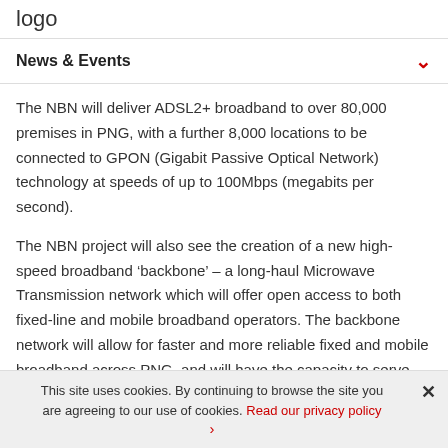logo
News & Events
The NBN will deliver ADSL2+ broadband to over 80,000 premises in PNG, with a further 8,000 locations to be connected to GPON (Gigabit Passive Optical Network) technology at speeds of up to 100Mbps (megabits per second).
The NBN project will also see the creation of a new high-speed broadband ‘backbone’ – a long-haul Microwave Transmission network which will offer open access to both fixed-line and mobile broadband operators. The backbone network will allow for faster and more reliable fixed and mobile broadband across PNG, and will have the capacity to serve PNG’s future broadband needs
This site uses cookies. By continuing to browse the site you are agreeing to our use of cookies. Read our privacy policy ›